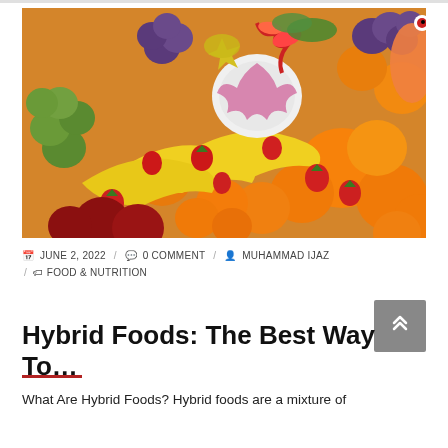[Figure (photo): Large colorful photo of assorted tropical fruits including bananas, oranges, strawberries, grapes, apples, dragon fruit, and other exotic fruits piled together.]
📅 JUNE 2, 2022  /  💬 0 COMMENT  /  👤 MUHAMMAD IJAZ  /  🏷 FOOD & NUTRITION
Hybrid Foods: The Best Way To…
What Are Hybrid Foods? Hybrid foods are a mixture of